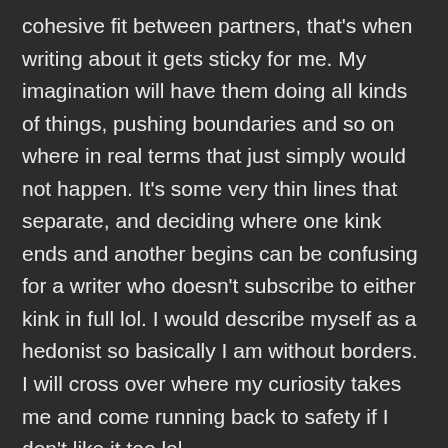cohesive fit between partners, that's when writing about it gets sticky for me. My imagination will have them doing all kinds of things, pushing boundaries and so on where in real terms that just simply would not happen. It's some very thin lines that separate, and deciding where one kink ends and another begins can be confusing for a writer who doesn't subscribe to either kink in full lol. I would describe myself as a hedonist so basically I am without borders. I will cross over where my curiosity takes me and come running back to safety if I don't like it too lol. It doesn't really help me here because I am always aware that I could be upsetting someone in either the D/s or the BDSM community by depicting their kink in a certain light that just doesn't fit. I'm rambling, I needed sex this morning and had